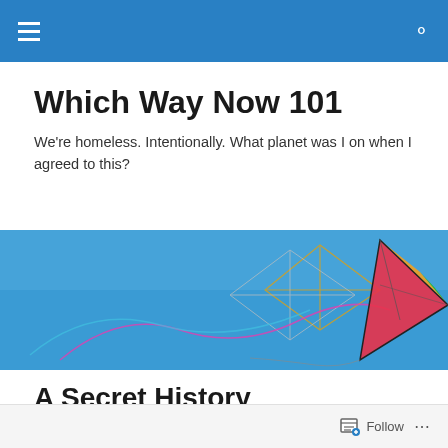Which Way Now 101 navigation bar
Which Way Now 101
We're homeless. Intentionally. What planet was I on when I agreed to this?
[Figure (photo): Colorful kites flying against a bright blue sky, including a triangular multi-colored kite on the right and geometric/wire-frame kite structures on the left.]
A Secret History
. . . . . . . or Kenilworth Castle and the Right-handed Camera
Follow ...